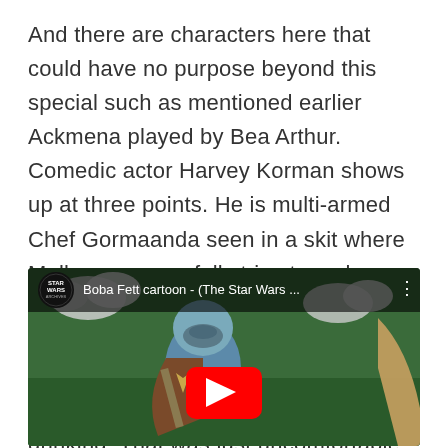And there are characters here that could have no purpose beyond this special such as mentioned earlier Ackmena played by Bea Arthur. Comedic actor Harvey Korman shows up at three points. He is multi-armed Chef Gormaanda seen in a skit where Malla unsuccessfully tries to make a meal. He is an Amorphian instructor in a video Lumpy watches. Finally he is Krelman in the Cantina sketch. I hope that hole in Krelman's head only is for drinking. That was just uncomfortable to watch.
[Figure (screenshot): YouTube video thumbnail showing animated Boba Fett cartoon from The Star Wars Holiday Special. Title reads 'Boba Fett cartoon - (The Star Wars ...' with Star Wars Archives channel logo.]